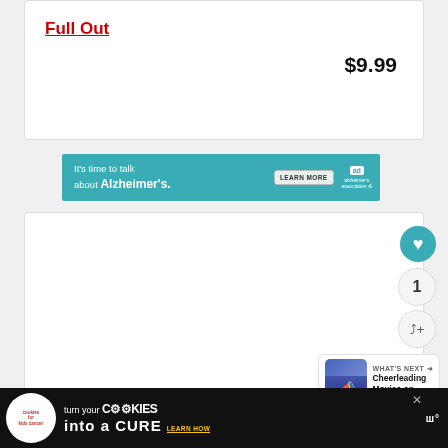Full Out
$9.99
Buy on Amazon
[Figure (screenshot): Alzheimer's Association advertisement banner: teal background, text 'It's time to talk about Alzheimer's.' with LEARN MORE button and ad/alzheimer's association logo]
1
[Figure (infographic): What's Next panel with cheerleading photo thumbnail and text 'Cheerleading Movies on...']
[Figure (screenshot): Bottom advertisement bar: Cookies for Kids Cancer 'turn your COOKIES into a CURE LEARN HOW' with toofab logo]